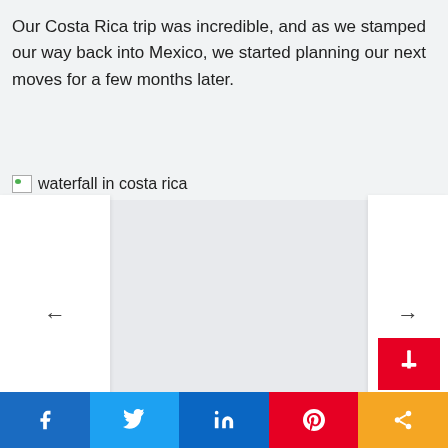Our Costa Rica trip was incredible, and as we stamped our way back into Mexico, we started planning our next moves for a few months later.
[Figure (photo): Broken image placeholder with alt text 'waterfall in costa rica']
[Figure (screenshot): Image carousel/slider with left and right navigation arrows on a light gray background]
[Figure (infographic): Social share bar at bottom with Facebook, Twitter, LinkedIn, Pinterest, and share icons. Pinterest save button floating above bar.]